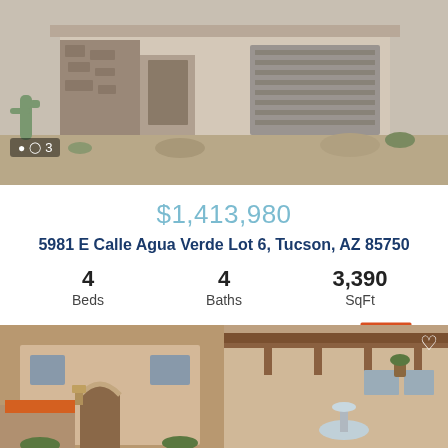[Figure (photo): Exterior photo of a modern desert home with stone facade, brown garage door, and desert landscaping with cacti and rocks]
3
$1,413,980
5981 E Calle Agua Verde Lot 6, Tucson, AZ 85750
4 Beds
4 Baths
3,390 SqFt
[Figure (logo): MLSSAZ IDX logo with Arizona state outline in orange/red]
Listing Provided By Realty Executives Arizona Territory
[Figure (photo): Bottom left: Exterior photo of a Spanish-style home with arched entrance and outdoor lanterns]
[Figure (photo): Bottom right: Exterior photo of a Southwest-style home with pergola and fountain]